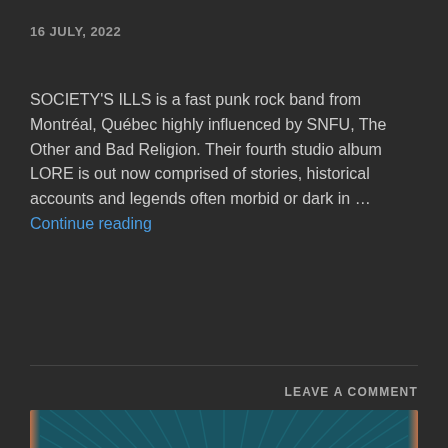16 JULY, 2022
SOCIETY'S ILLS is a fast punk rock band from Montréal, Québec highly influenced by SNFU, The Other and Bad Religion. Their fourth studio album LORE is out now comprised of stories, historical accounts and legends often morbid or dark in … Continue reading
LEAVE A COMMENT
[Figure (illustration): Slam Dunk festival logo on a teal/dark blue radial sunburst background. The words 'Slam Dunk' are rendered in large retro-style lettering with cream/beige fill and red outline, partially visible at bottom of frame.]